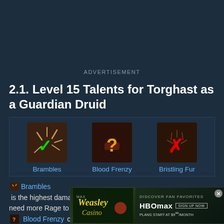ADVERTISEMENT
2.1. Level 15 Talents for Torghast as a Guardian Druid
[Figure (infographic): Three talent options in a row: Brambles (green checkmark - recommended), Blood Frenzy (orange question mark - situational), Bristling Fur (red X - not recommended)]
Brambles is the highest damage option in this tier, however if you find you need more Rage to survive, Blood Frenzy can be a good alternative.
2.2. Level 25 Talents for Torghast as a Guardian Druid
[Figure (infographic): HBO Max advertisement banner: Discover Fan Favorites, plans start at $9.99/month]